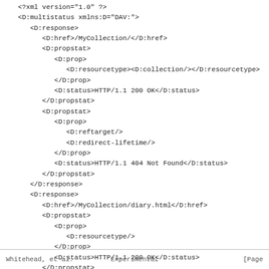<?xml version="1.0" ?>
<D:multistatus xmlns:D="DAV:">
  <D:response>
      <D:href>/MyCollection/</D:href>
      <D:propstat>
         <D:prop>
            <D:resourcetype><D:collection/></D:resourcetype>
         </D:prop>
         <D:status>HTTP/1.1 200 OK</D:status>
      </D:propstat>
      <D:propstat>
         <D:prop>
            <D:reftarget/>
            <D:redirect-lifetime/>
         </D:prop>
         <D:status>HTTP/1.1 404 Not Found</D:status>
      </D:propstat>
  </D:response>
  <D:response>
     <D:href>/MyCollection/diary.html</D:href>
     <D:propstat>
        <D:prop>
           <D:resourcetype/>
        </D:prop>
        <D:status>HTTP/1.1 200 OK</D:status>
     </D:propstat>
     <D:propstat>
        <D:prop>
           <D:reftarget/>
           <D:redirect-lifetime/>
        </D:prop>
        <D:status>HTTP/1.1 404 Not Found</D:status>
     </D:propstat>
Whitehead, et al.              Experimental                        [Page